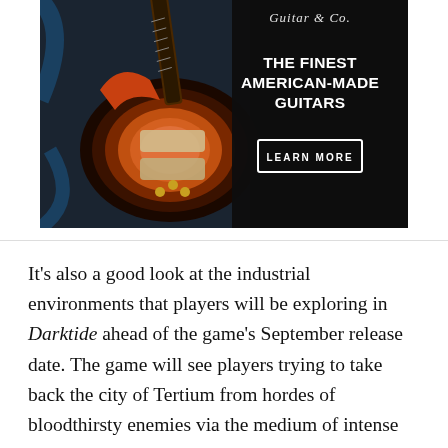[Figure (photo): Advertisement banner for Gibson guitars showing a sunburst Les Paul electric guitar in a case, with text 'THE FINEST AMERICAN-MADE GUITARS' and a 'LEARN MORE' button on a dark background, with script logo at top.]
It's also a good look at the industrial environments that players will be exploring in Darktide ahead of the game's September release date. The game will see players trying to take back the city of Tertium from hordes of bloodthirsty enemies via the medium of intense and brutal combat. There's no word on the progression systems in the game yet, but this